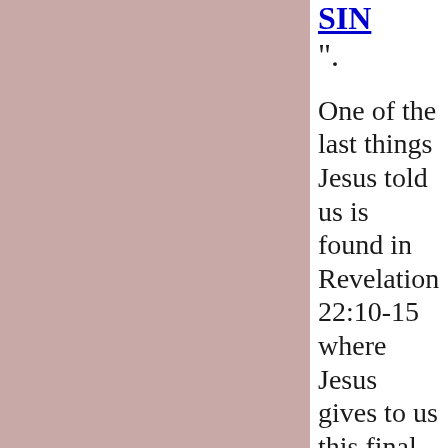SIN”.
One of the last things Jesus told us is found in Revelation 22:10-15 where Jesus gives to us this final WARNING!
Rev